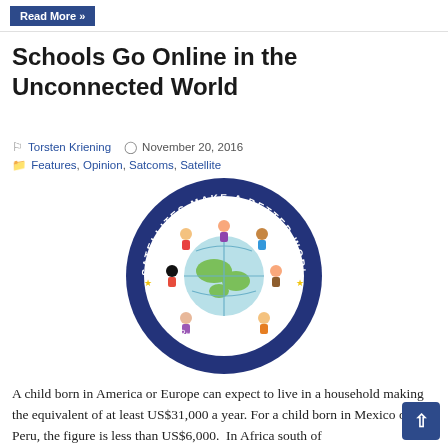Read More »
Schools Go Online in the Unconnected World
Torsten Kriening   November 20, 2016   Features, Opinion, Satcoms, Satellite
[Figure (illustration): Circular logo with dark blue border reading 'SATELLITES MAKE A BETTER WORLD' with stars and 'www.sspi.org/betterworld' text. Center shows a globe with cartoon children of diverse backgrounds dancing around it.]
A child born in America or Europe can expect to live in a household making the equivalent of at least US$31,000 a year. For a child born in Mexico or Peru, the figure is less than US$6,000.  In Africa south of